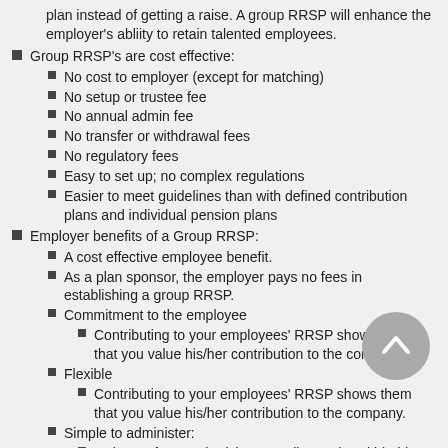plan instead of getting a raise. A group RRSP will enhance the employer's abliity to retain talented employees.
Group RRSP's are cost effective:
No cost to employer (except for matching)
No setup or trustee fee
No annual admin fee
No transfer or withdrawal fees
No regulatory fees
Easy to set up; no complex regulations
Easier to meet guidelines than with defined contribution plans and individual pension plans
Employer benefits of a Group RRSP:
A cost effective employee benefit.
As a plan sponsor, the employer pays no fees in establishing a group RRSP.
Commitment to the employee
Contributing to your employees' RRSP shows them that you value his/her contribution to the company.
Flexible
Contributing to your employees' RRSP shows them that you value his/her contribution to the company.
Simple to administer:
Only one form authorizing payroll to make withhold